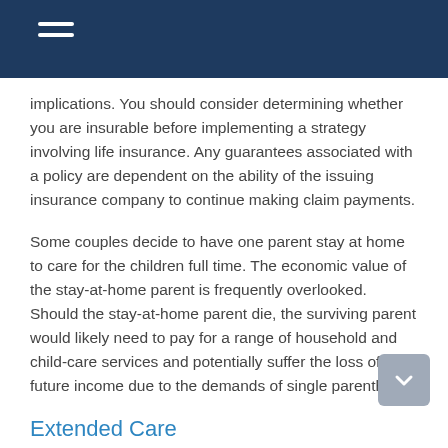implications. You should consider determining whether you are insurable before implementing a strategy involving life insurance. Any guarantees associated with a policy are dependent on the ability of the issuing insurance company to continue making claim payments.
Some couples decide to have one parent stay at home to care for the children full time. The economic value of the stay-at-home parent is frequently overlooked. Should the stay-at-home parent die, the surviving parent would likely need to pay for a range of household and child-care services and potentially suffer the loss of future income due to the demands of single parenthood.
Extended Care